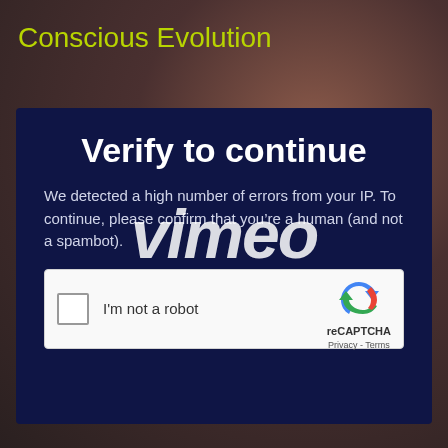Conscious Evolution
[Figure (screenshot): Vimeo verify-to-continue modal overlay on a dark reddish-brown background, with a large 'vimeo' watermark across the middle, showing a reCAPTCHA 'I'm not a robot' checkbox widget]
Verify to continue
We detected a high number of errors from your IP. To continue, please confirm that you’re a human (and not a spambot).
I'm not a robot
reCAPTCHA
Privacy - Terms